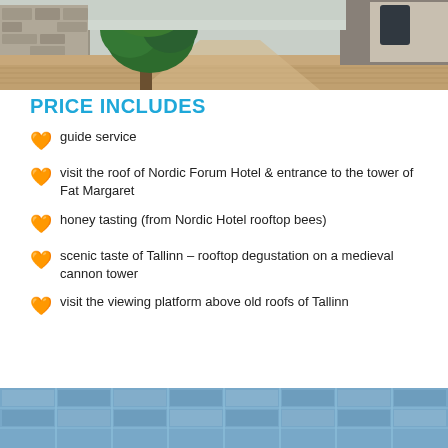[Figure (photo): Outdoor cobblestone street scene with a large green tree and stone wall building in Tallinn old town]
PRICE INCLUDES
guide service
visit the roof of Nordic Forum Hotel & entrance to the tower of Fat Margaret
honey tasting (from Nordic Hotel rooftop bees)
scenic taste of Tallinn – rooftop degustation on a medieval cannon tower
visit the viewing platform above old roofs of Tallinn
[Figure (photo): Modern glass building facade with blue-tinted windows and reflections]